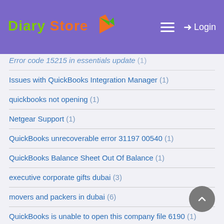Diary Store
Error code 15215 in essentials update (1)
Issues with QuickBooks Integration Manager (1)
quickbooks not opening (1)
Netgear Support (1)
QuickBooks unrecoverable error 31197 00540 (1)
QuickBooks Balance Sheet Out Of Balance (1)
executive corporate gifts dubai (3)
movers and packers in dubai (6)
QuickBooks is unable to open this company file 6190 (1)
lifting equipments manufacturers (3)
#quickbooks errors (1)
QBWebConnector Error QBWC1039 (1)